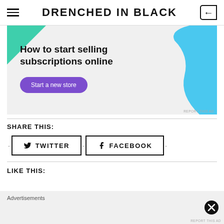DRENCHED IN BLACK
[Figure (infographic): Advertisement banner: 'How to start selling subscriptions online' with a purple 'Start a new store' button, teal triangle top-left, blue shape top-right on grey background.]
SHARE THIS:
TWITTER
FACEBOOK
LIKE THIS:
Advertisements